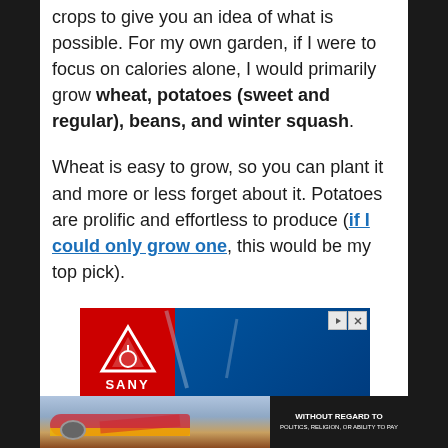crops to give you an idea of what is possible. For my own garden, if I were to focus on calories alone, I would primarily grow wheat, potatoes (sweet and regular), beans, and winter squash.
Wheat is easy to grow, so you can plant it and more or less forget about it. Potatoes are prolific and effortless to produce (if I could only grow one, this would be my top pick).
[Figure (screenshot): SANY advertisement banner showing construction equipment against blue sky background]
[Figure (photo): Advertisement showing cargo airplane being loaded, with text 'WITHOUT REGARD TO POLITICS, RELIGION, OR ABILITY TO PAY']